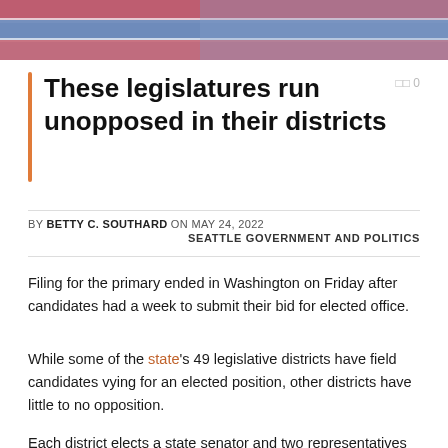[Figure (photo): American flag close-up with red, white, and blue colors, blurred/abstract image at top of article]
These legislatures run unopposed in their districts
BY BETTY C. SOUTHARD ON MAY 24, 2022
SEATTLE GOVERNMENT AND POLITICS
Filing for the primary ended in Washington on Friday after candidates had a week to submit their bid for elected office.
While some of the state's 49 legislative districts have field candidates vying for an elected position, other districts have little to no opposition.
Each district elects a state senator and two representatives who run for two different positions. The term of office of MPs is two years, so these positions are filled in every even-numbered election. Senators serve four-year terms, leaving half of the